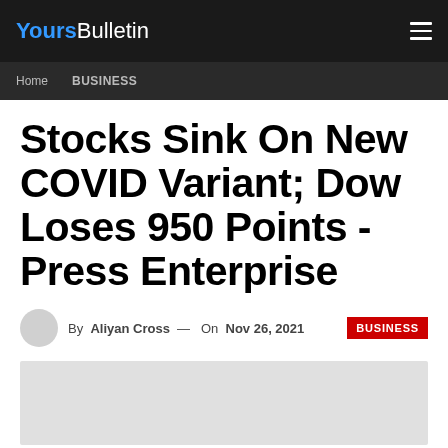YoursBulletin
Home  BUSINESS
Stocks Sink On New COVID Variant; Dow Loses 950 Points - Press Enterprise
By Aliyan Cross — On Nov 26, 2021  BUSINESS
[Figure (photo): Light grey image placeholder at the bottom of the article]